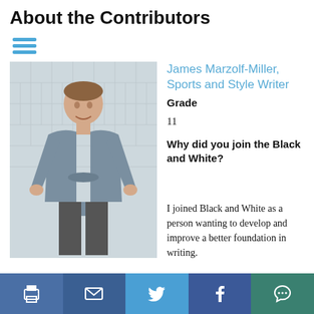About the Contributors
[Figure (photo): Photo of James Marzolf-Miller, a young man in a grey t-shirt standing against a tiled wall, smiling.]
James Marzolf-Miller, Sports and Style Writer
Grade
11
Why did you join the Black and White?
I joined Black and White as a person wanting to develop and improve a better foundation in writing.
Print | Email | Twitter | Facebook | Comment